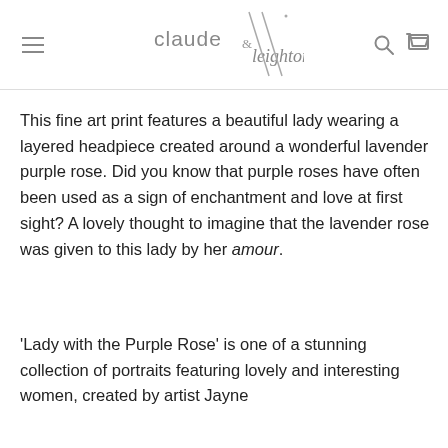claude & leighton [logo with navigation icons]
This fine art print features a beautiful lady wearing a layered headpiece created around a wonderful lavender purple rose. Did you know that purple roses have often been used as a sign of enchantment and love at first sight? A lovely thought to imagine that the lavender rose was given to this lady by her amour.
'Lady with the Purple Rose' is one of a stunning collection of portraits featuring lovely and interesting women, created by artist Jayne